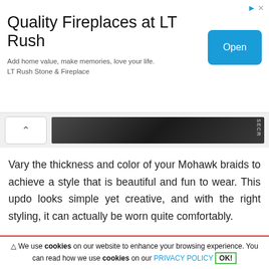[Figure (infographic): Advertisement banner for Quality Fireplaces at LT Rush with an Open button]
[Figure (photo): Partial photo strip showing dark hair/styling image with a chevron back button and SECR label]
Vary the thickness and color of your Mohawk braids to achieve a style that is beautiful and fun to wear. This updo looks simple yet creative, and with the right styling, it can actually be worn quite comfortably.
20: A BIT OF ROMANCE
[Figure (illustration): Teal/blue heart icon with pink circle border]
⚠ We use cookies on our website to enhance your browsing experience. You can read how we use cookies on our PRIVACY POLICY OK!